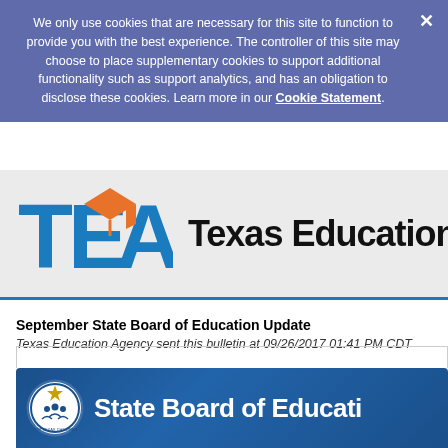We only use cookies that are necessary for this site to function to provide you with the best experience. The controller of this site may choose to place supplementary cookies to support additional functionality such as support analytics, and has an obligation to disclose these cookies. Learn more in our Cookie Statement.
[Figure (logo): Texas Education Agency (TEA) logo with blue TEA letters and orange graduation cap, followed by 'Texas Education Age' text (cropped)]
September State Board of Education Update
Texas Education Agency sent this bulletin at 09/26/2017 01:41 PM CDT
[Figure (logo): State Board of Education banner with blue background, circular SBOE seal logo on left, and 'State Board of Educati' text (cropped) on right in white bold font]